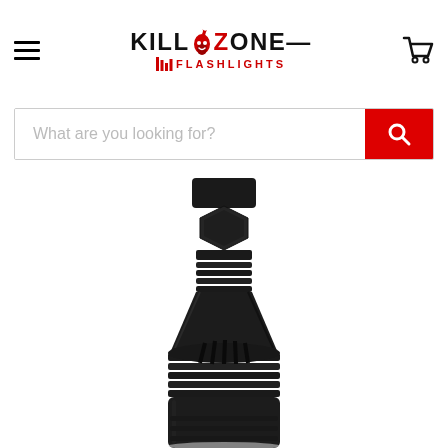Killzone Flashlights — navigation header with hamburger menu and cart icon
What are you looking for?
[Figure (photo): Close-up product photo of a black tactical flashlight body showing ribbed grip, threaded sections, hex nut, and crenelated bezel area, shot against white background]